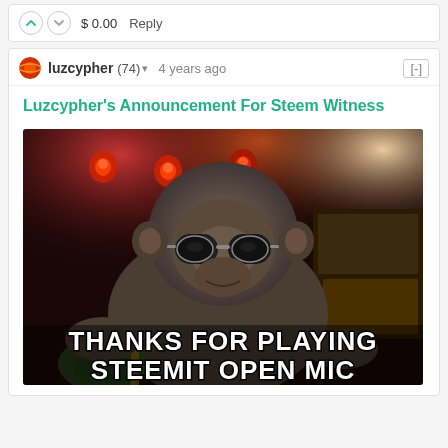$ 0.00   Reply
luzcypher (74) ▾   4 years ago   [-]
Luzcypher's Announcement For Steem Witness
[Figure (photo): A gorilla wearing sunglasses at a concert stage with red stage lights, holding a guitar. Text overlay at the bottom reads: THANKS FOR PLAYING STEEMIT OPEN MIC]